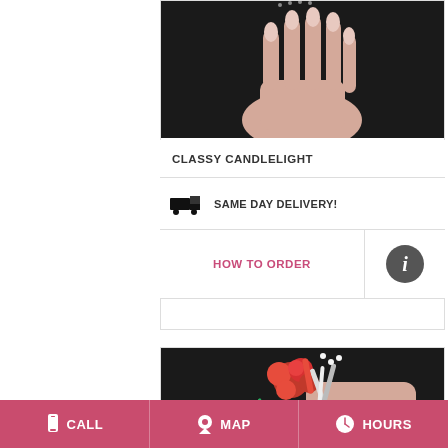[Figure (photo): Photo of a hand wearing a corsage/jewelry against a dark background, showing fingers from above]
CLASSY CANDLELIGHT
SAME DAY DELIVERY!
HOW TO ORDER
[Figure (photo): Photo of a wrist wearing a red rose corsage with ribbons against a dark background]
CALL   MAP   HOURS